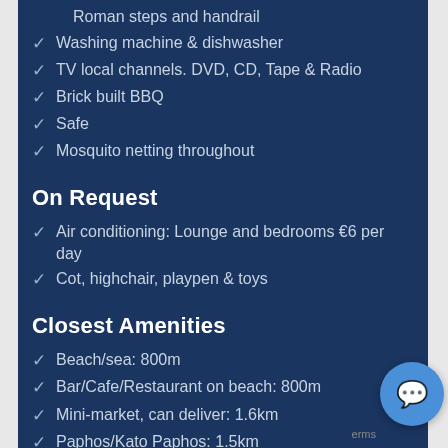Roman steps and handrail
Washing machine & dishwasher
TV local channels. DVD, CD, Tape & Radio
Brick built BBQ
Safe
Mosquito netting throughout
On Request
Air conditioning: Lounge and bedrooms €6 per day
Cot, highchair, playpen &  toys
Closest Amenities
Beach/sea: 800m
Bar/Cafe/Restaurant on beach: 800m
Mini-market, can deliver: 1.6km
Paphos/Kato Paphos: 1.5km
VIEW ON MAP